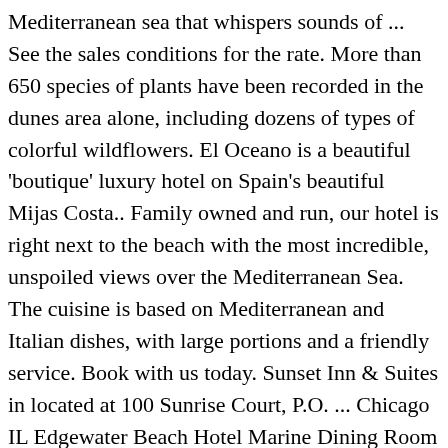Mediterranean sea that whispers sounds of ... See the sales conditions for the rate. More than 650 species of plants have been recorded in the dunes area alone, including dozens of types of colorful wildflowers. El Oceano is a beautiful 'boutique' luxury hotel on Spain's beautiful Mijas Costa.. Family owned and run, our hotel is right next to the beach with the most incredible, unspoiled views over the Mediterranean Sea. The cuisine is based on Mediterranean and Italian dishes, with large portions and a friendly service. Book with us today. Sunset Inn & Suites in located at 100 Sunrise Court, P.O. ... Chicago IL Edgewater Beach Hotel Marine Dining Room Postcard unused (20571) $4.24. Browse hotel photos and reviews, compare rates and availability, and book a room on Google Hotel Search. Learn More. The first section was built in 1916 for its owners John Tobin Connery and James Patrick Connery, located between Sheridan Road and Lake Michigan at Berwyn Avenue. This luxury hotel-casino resort is located in Palm Beach, Aruba. The hotel features a handicap accessible restaurant, cocktail